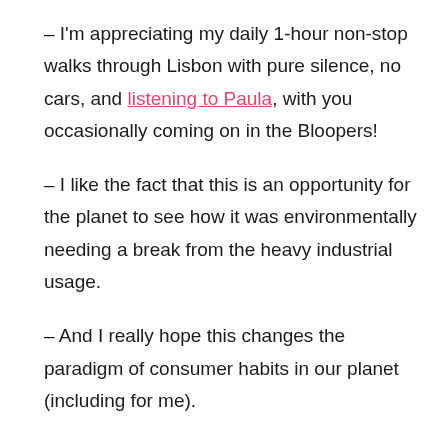– I'm appreciating my daily 1-hour non-stop walks through Lisbon with pure silence, no cars, and listening to Paula, with you occasionally coming on in the Bloopers!
– I like the fact that this is an opportunity for the planet to see how it was environmentally needing a break from the heavy industrial usage.
– And I really hope this changes the paradigm of consumer habits in our planet (including for me).